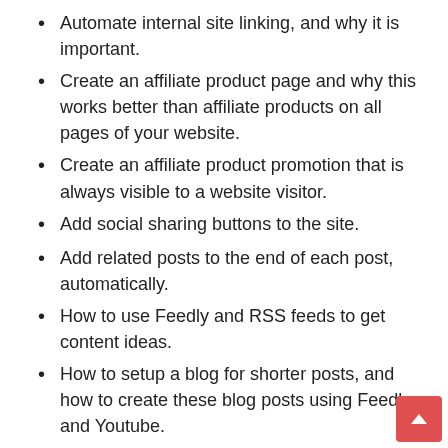Automate internal site linking, and why it is important.
Create an affiliate product page and why this works better than affiliate products on all pages of your website.
Create an affiliate product promotion that is always visible to a website visitor.
Add social sharing buttons to the site.
Add related posts to the end of each post, automatically.
How to use Feedly and RSS feeds to get content ideas.
How to setup a blog for shorter posts, and how to create these blog posts using Feedly and Youtube.
This course covers everything you need to know to help you create a high quality affiliate website that you’ll be proud of.  With Google cracking down on poor quality affiliate sites, a lot of webmasters have given up creating this type of site.  However, affiliate sites remain one of the best forms of setup and forget “passive income”.
With this course, you will have the exact system I personally